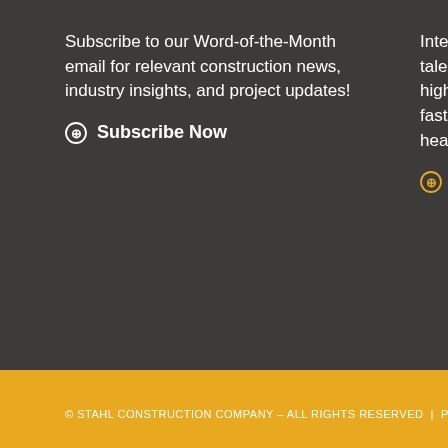Subscribe to our Word-of-the-Month email for relevant construction news, industry insights, and project updates!
⊙ Subscribe Now
Interested in joining our team of talented... highly-motivated... fast-paced... hear from...
⊙ Curr...
© STAHL CONSTRUCTION COMPANY – ALL RIGHTS RESERVED | PRIVACY PO...